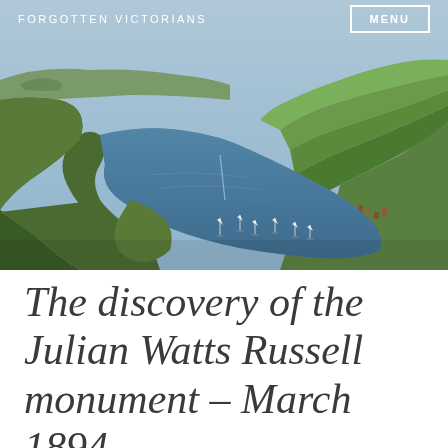FORGOTTEN VICTORIANS
[Figure (photo): Aerial photograph of a coastal inlet with green fields, wooded hills, small islands, and sailboats anchored in calm blue water, with a village visible on the right shoreline.]
The discovery of the Julian Watts Russell monument – March 1894